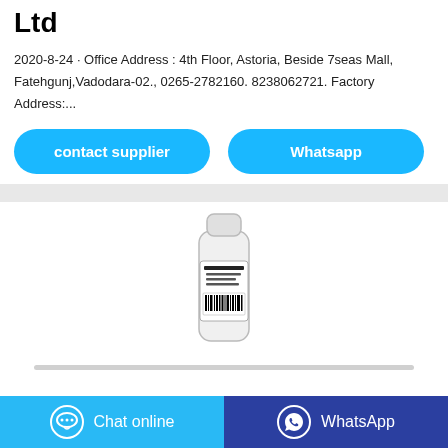Ltd
2020-8-24 · Office Address : 4th Floor, Astoria, Beside 7seas Mall, Fatehgunj,Vadodara-02., 0265-2782160. 8238062721. Factory Address:...
[Figure (other): Two rounded blue buttons: 'contact supplier' and 'Whatsapp']
[Figure (photo): Product photo of a small hand sanitizer bottle with black and white label and barcode, on a shelf]
[Figure (other): Bottom bar with two buttons: 'Chat online' (light blue with chat icon) and 'WhatsApp' (dark blue with WhatsApp icon)]